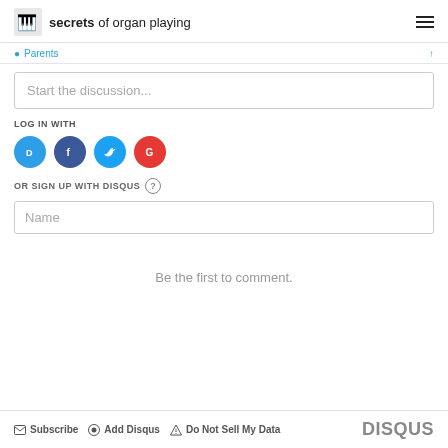secrets of organ playing
Parents
Start the discussion...
LOG IN WITH
[Figure (logo): Four social login icons: Disqus (blue), Facebook (dark blue), Twitter (light blue), Google (red)]
OR SIGN UP WITH DISQUS ?
Name
Be the first to comment.
Subscribe  Add Disqus  Do Not Sell My Data  DISQUS